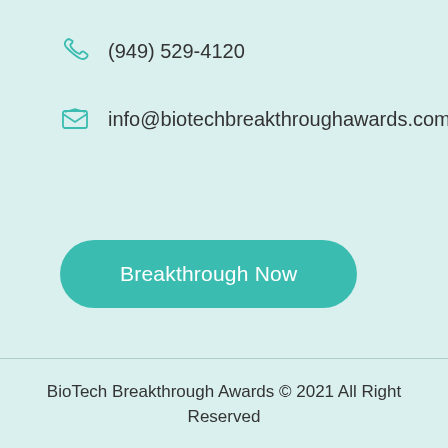(949) 529-4120
info@biotechbreakthroughawards.com
Breakthrough Now
BioTech Breakthrough Awards © 2021 All Right Reserved